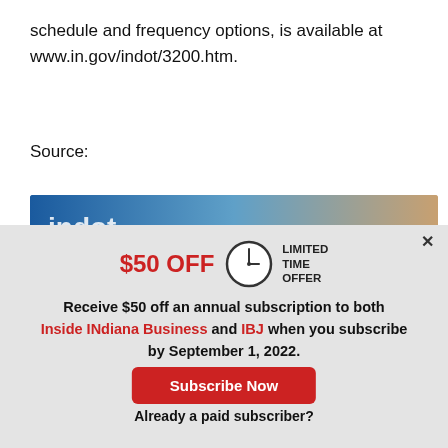schedule and frequency options, is available at www.in.gov/indot/3200.htm.
Source:
[Figure (photo): Blue gradient banner image, partially visible, showing a government/INDOT website header]
[Figure (infographic): Popup overlay advertisement: $50 OFF LIMITED TIME OFFER with clock icon. Receive $50 off an annual subscription to both Inside INdiana Business and IBJ when you subscribe by September 1, 2022. Subscribe Now button. Already a paid subscriber? Log In button.]